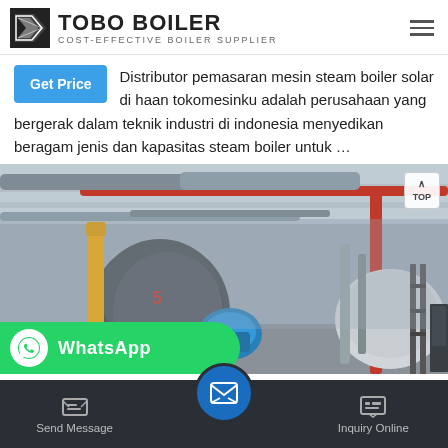TOBO BOILER — COST-EFFECTIVE BOILER SUPPLIER
Distributor pemasaran mesin steam boiler solar di haan tokomesinku adalah perusahaan yang bergerak dalam teknik industri di indonesia menyedikan beragam jenis dan kapasitas steam boiler untuk …
[Figure (photo): Industrial boiler room interior showing large cylindrical boilers, yellow and red pipes, blue motor units, and overhead piping infrastructure.]
Send Message | Inquiry Online